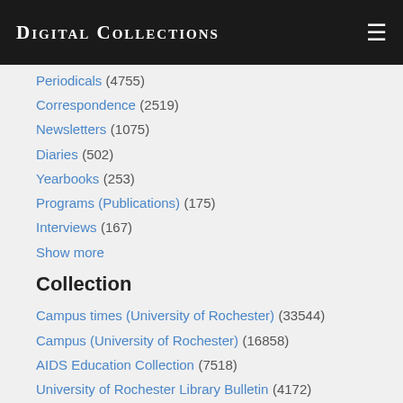Digital Collections
Periodicals (4755)
Correspondence (2519)
Newsletters (1075)
Diaries (502)
Yearbooks (253)
Programs (Publications) (175)
Interviews (167)
Show more
Collection
Campus times (University of Rochester) (33544)
Campus (University of Rochester) (16858)
AIDS Education Collection (7518)
University of Rochester Library Bulletin (4172)
Tower times (University of Rochester) (3500)
@Rochester (3355)
Rochester campus (University of Rochester) (1812)
Isabella Beecher Hooker and John Hooker Papers (1186)
Cloister window (University of Rochester) (1001)
University of Rochester Currents (780)